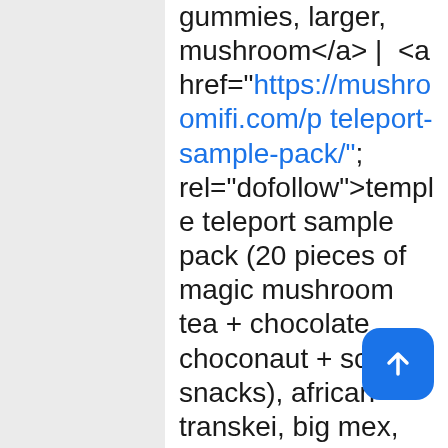gummies, larger, mushroom</a> |  <a href="https://mushroomifi.com/p teleport-sample-pack/"; rel="dofollow">temple teleport sample pack (20 pieces of magic mushroom tea + chocolate choconaut + scooby snacks), african transkei, big mex, big mex shrooms, coconut pineapple tea, cuban cubensis, cuban cubensis shrooms, cubans, depression, golden emp golden teacher, hallucinatory, lemon ginger tea, licorice leaf tea, magic mushroom tea, microdose-